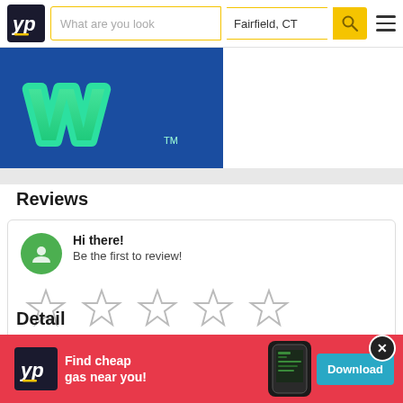YP | What are you looking for | Fairfield, CT | Search
[Figure (logo): Business logo - stylized green 'W' letter on blue background with TM mark]
Reviews
Hi there! Be the first to review!
[Figure (other): Five empty star rating icons in a row]
Detail
[Figure (infographic): YP advertisement banner: Find cheap gas near you! Download button with phone image]